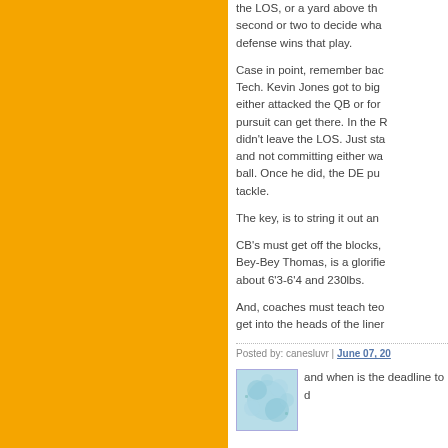the LOS, or a yard above the second or two to decide what defense wins that play.
Case in point, remember back Tech. Kevin Jones got to big either attacked the QB or forced pursuit can get there. In the R didn't leave the LOS. Just sta and not committing either wa ball. Once he did, the DE pu tackle.
The key, is to string it out and
CB's must get off the blocks, Bey-Bey Thomas, is a glorifie about 6'3-6'4 and 230lbs.
And, coaches must teach tec get into the heads of the liner
Posted by: canesluvr | June 07, 20
[Figure (illustration): Avatar image with light blue floral/abstract pattern]
and when is the deadline to d